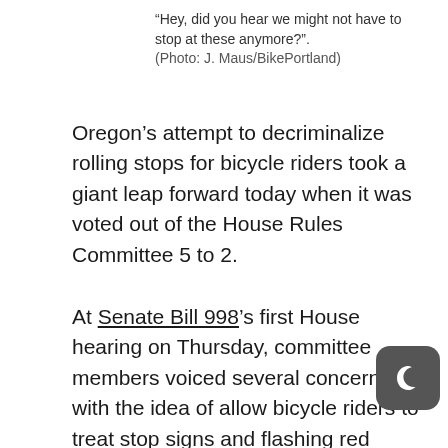“Hey, did you hear we might not have to stop at these anymore?”. (Photo: J. Maus/BikePortland)
Oregon’s attempt to decriminalize rolling stops for bicycle riders took a giant leap forward today when it was voted out of the House Rules Committee 5 to 2.
At Senate Bill 998’s first House hearing on Thursday, committee members voiced several concerns with the idea of allow bicycle riders to treat stop signs and flashing red signals as yields. One member noticed there were only three pieces of testimony in the official record. So on Friday we put out a call to get more people to email the committee.